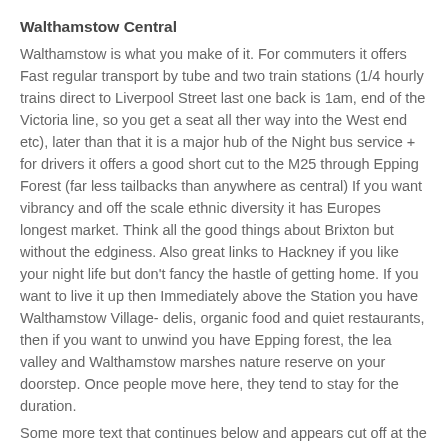Walthamstow Central
Walthamstow is what you make of it. For commuters it offers Fast regular transport by tube and two train stations (1/4 hourly trains direct to Liverpool Street last one back is 1am, end of the Victoria line, so you get a seat all ther way into the West end etc), later than that it is a major hub of the Night bus service + for drivers it offers a good short cut to the M25 through Epping Forest (far less tailbacks than anywhere as central) If you want vibrancy and off the scale ethnic diversity it has Europes longest market. Think all the good things about Brixton but without the edginess. Also great links to Hackney if you like your night life but don't fancy the hastle of getting home. If you want to live it up then Immediately above the Station you have Walthamstow Village- delis, organic food and quiet restaurants, then if you want to unwind you have Epping forest, the lea valley and Walthamstow marshes nature reserve on your doorstep. Once people move here, they tend to stay for the duration.
...